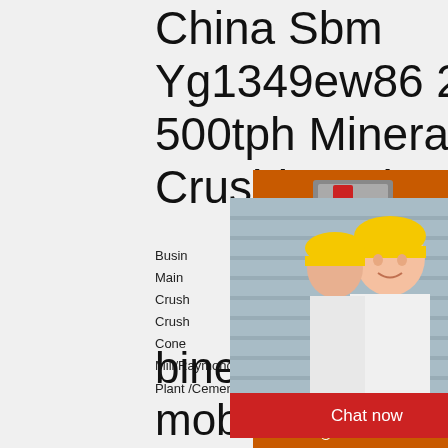China Sbm Yg1349ew86 250-500tph Mineral Crushing Plant ...
Busin...
Main ...
Crush...
Crush...
Cone ...
Mill/Raymond Mill/Hammer Mill, Vetical Mill/Ca... Plant /Cement Mill, Magnetic Separator/Sand ...
[Figure (photo): Live chat popup with photo of workers wearing yellow hard hats, LIVE CHAT heading, Click for a Free Consultation, Chat now and Chat later buttons]
[Figure (illustration): Orange advertisement panel with mining machinery images, Enjoy 3% discount, Click to Chat, Enquiry, limingjlmofen@sina.com]
binebenta ang mobile crusher sa Pilipinas, proyecto